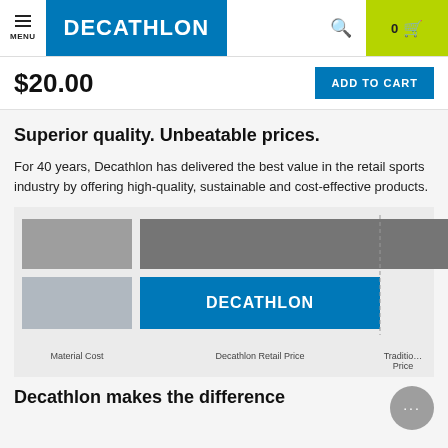MENU | DECATHLON | 0 cart
$20.00
ADD TO CART
Superior quality. Unbeatable prices.
For 40 years, Decathlon has delivered the best value in the retail sports industry by offering high-quality, sustainable and cost-effective products.
[Figure (bar-chart): Price comparison]
Decathlon makes the difference